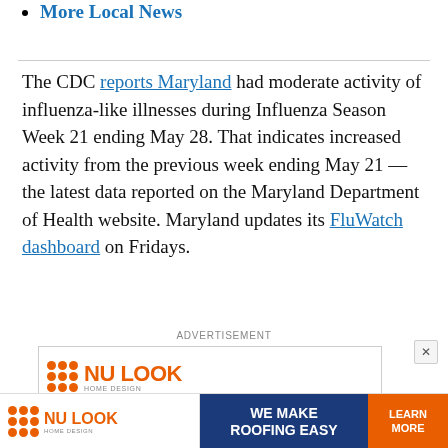More Local News
The CDC reports Maryland had moderate activity of influenza-like illnesses during Influenza Season Week 21 ending May 28. That indicates increased activity from the previous week ending May 21 — the latest data reported on the Maryland Department of Health website. Maryland updates its FluWatch dashboard on Fridays.
[Figure (other): Advertisement banner for Nu Look Home Design with orange logo, dark blue background text 'WE MAKE ROOFING EASY' and orange 'LEARN MORE' button]